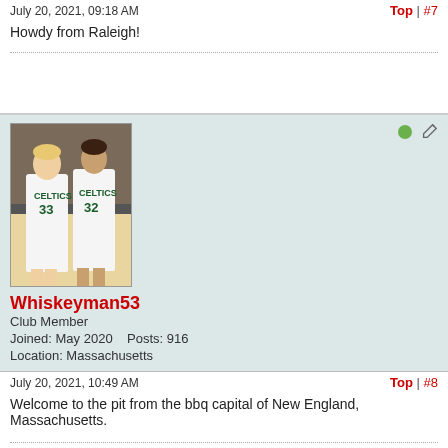July 20, 2021, 09:18 AM
Top | #7
Howdy from Raleigh!
[Figure (photo): Forum user avatar showing two Boston Celtics players wearing jerseys #33 and #32]
Whiskeyman53
Club Member
Joined: May 2020    Posts: 916
Location: Massachusetts
July 20, 2021, 10:49 AM
Top | #8
Welcome to the pit from the bbq capital of New England, Massachusetts.